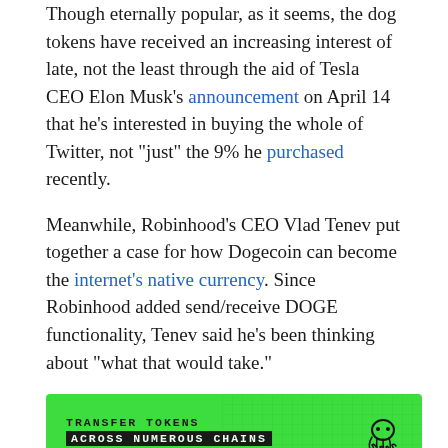Though eternally popular, as it seems, the dog tokens have received an increasing interest of late, not the least through the aid of Tesla CEO Elon Musk's announcement on April 14 that he's interested in buying the whole of Twitter, not "just" the 9% he purchased recently.
Meanwhile, Robinhood's CEO Vlad Tenev put together a case for how Dogecoin can become the internet's native currency. Since Robinhood added send/receive DOGE functionality, Tenev said he's been thinking about "what that would take."
[Figure (other): Green advertisement banner reading: TRANSFER TOKENS / ACROSS NUMEROUS CHAINS / WITH EASE | no more limited pairs, with an octopus/squid icon on the right and a grid pattern overlay]
Get an Edge on the Crypto Market 👇
Become a member of CryptoSlate Edge and access our